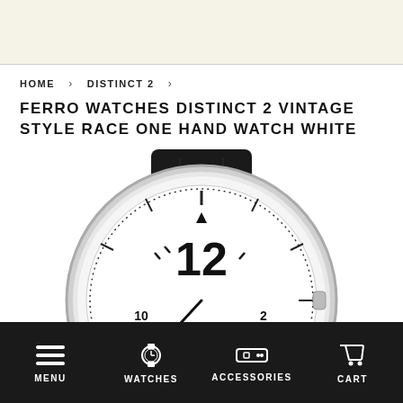FERRO & COMPANY
HOME › DISTINCT 2 ›
FERRO WATCHES DISTINCT 2 VINTAGE STYLE RACE ONE HAND WATCH WHITE
[Figure (photo): Close-up photo of a Ferro & Company Distinct 2 vintage style race one hand watch with white dial and black leather strap. The watch face shows 'FERRO & COMPANY distinct' branding, with the number 12 prominently displayed and a single hand.]
MENU   WATCHES   ACCESSORIES   CART